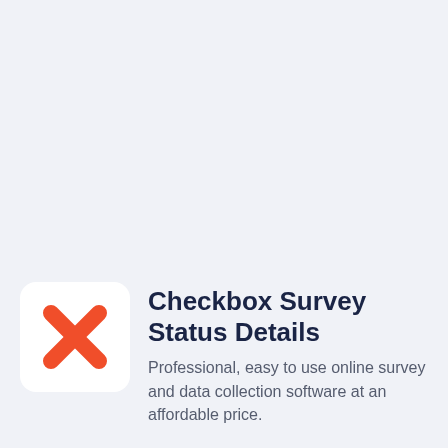[Figure (logo): Checkbox Survey logo: white rounded square background with an orange-red X mark (cross) centered inside]
Checkbox Survey Status Details
Professional, easy to use online survey and data collection software at an affordable price.